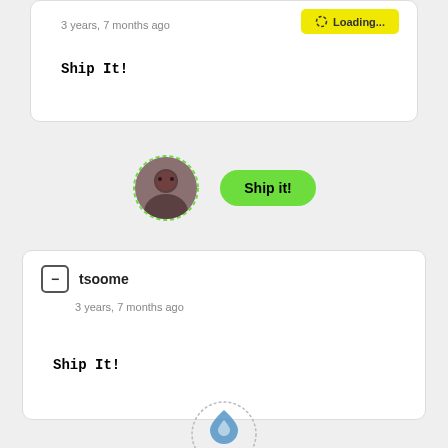3 years, 7 months ago
Loading...
Ship It!
[Figure (photo): User avatar in circular frame with green dotted border, next to a green 'Ship it!' button]
tsoome
3 years, 7 months ago
Ship It!
[Figure (logo): Drupal logo in circular frame with grey dotted border at bottom of page]